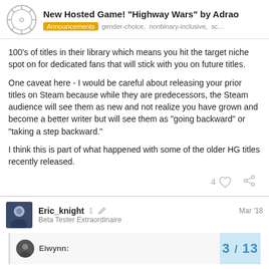New Hosted Game! “Highway Wars” by Adrao | Announcements  gender-choice, nonbinary-inclusive, sc…
100’s of titles in their library which means you hit the target niche spot on for dedicated fans that will stick with you on future titles.
One caveat here - I would be careful about releasing your prior titles on Steam because while they are predecessors, the Steam audience will see them as new and not realize you have grown and become a better writer but will see them as “going backward” or “taking a step backward.”
I think this is part of what happened with some of the older HG titles recently released.
Eric_knight  Beta Tester Extraordinaire  1  Mar ’18
Eiwynn:  3 / 13